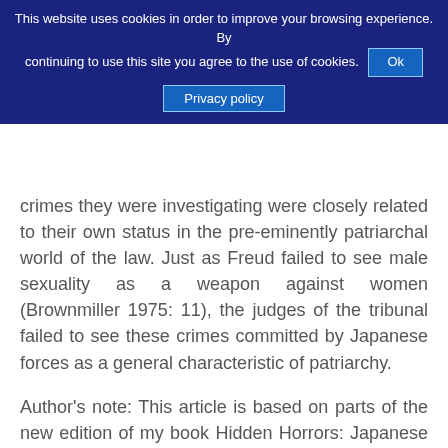This website uses cookies in order to improve your browsing experience. By continuing to use this site you agree to the use of cookies. Ok Privacy policy
crimes they were investigating were closely related to their own status in the pre-eminently patriarchal world of the law. Just as Freud failed to see male sexuality as a weapon against women (Brownmiller 1975: 11), the judges of the tribunal failed to see these crimes committed by Japanese forces as a general characteristic of patriarchy.
Author's note: This article is based on parts of the new edition of my book Hidden Horrors: Japanese War Crimes in World War II (2018), reproduced here courtesy of Rowman & Littlefield.